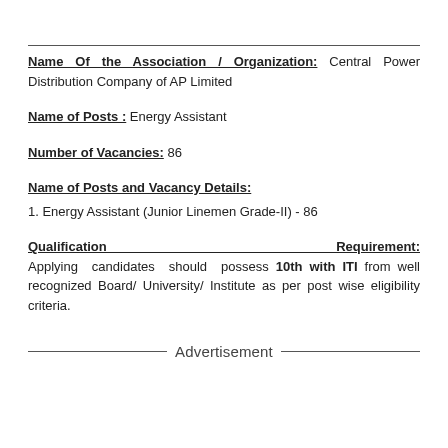Name Of the Association / Organization: Central Power Distribution Company of AP Limited
Name of Posts: Energy Assistant
Number of Vacancies: 86
Name of Posts and Vacancy Details:
1. Energy Assistant (Junior Linemen Grade-II) - 86
Qualification Requirement: Applying candidates should possess 10th with ITI from well recognized Board/ University/ Institute as per post wise eligibility criteria.
Advertisement